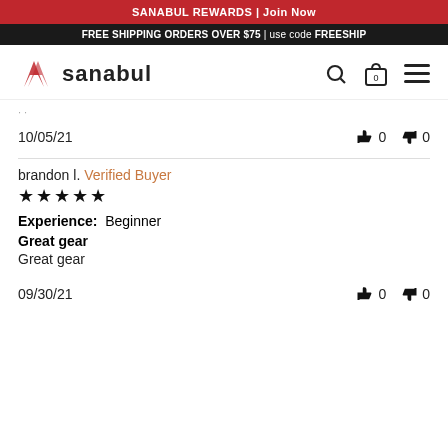SANABUL REWARDS | Join Now
FREE SHIPPING ORDERS OVER $75 | use code FREESHIP
[Figure (logo): Sanabul logo with stylized S icon and wordmark 'sanabul']
10/05/21   👍 0   👎 0
brandon l.  Verified Buyer
★★★★★
Experience: Beginner
Great gear
Great gear
09/30/21   👍 0   👎 0